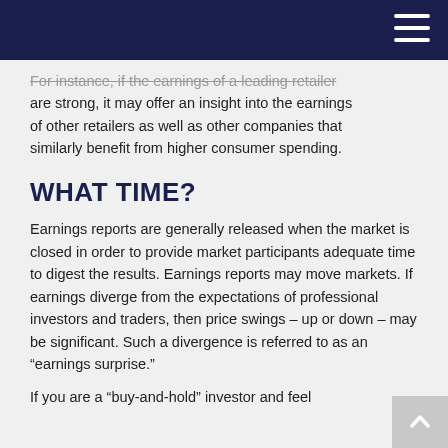For instance, if the earnings of a leading retailer are strong, it may offer an insight into the earnings of other retailers as well as other companies that similarly benefit from higher consumer spending.
WHAT TIME?
Earnings reports are generally released when the market is closed in order to provide market participants adequate time to digest the results. Earnings reports may move markets. If earnings diverge from the expectations of professional investors and traders, then price swings – up or down – may be significant. Such a divergence is referred to as an “earnings surprise.”
If you are a “buy-and-hold” investor and feel